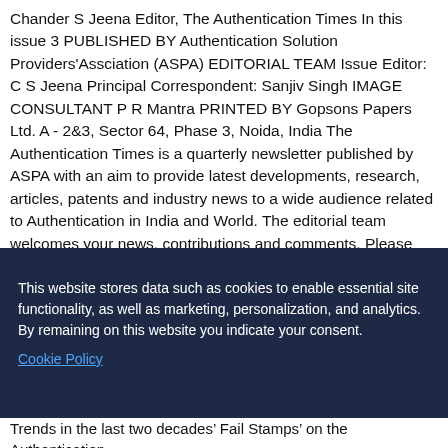Chander S Jeena Editor, The Authentication Times In this issue 3 PUBLISHED BY Authentication Solution Providers'Assciation (ASPA) EDITORIAL TEAM Issue Editor: C S Jeena Principal Correspondent: Sanjiv Singh IMAGE CONSULTANT P R Mantra PRINTED BY Gopsons Papers Ltd. A - 2&3, Sector 64, Phase 3, Noida, India The Authentication Times is a quarterly newsletter published by ASPA with an aim to provide latest developments, research, articles, patents and industry news to a wide audience related to Authentication in India and World. The editorial team welcomes your news, contributions and comments. Please send your product updates, press releases, conference announcements or
This website stores data such as cookies to enable essential site functionality, as well as marketing, personalization, and analytics. By remaining on this website you indicate your consent.
Cookie Policy
Trends in the last two decades' Fail Stamps' on the Authentication